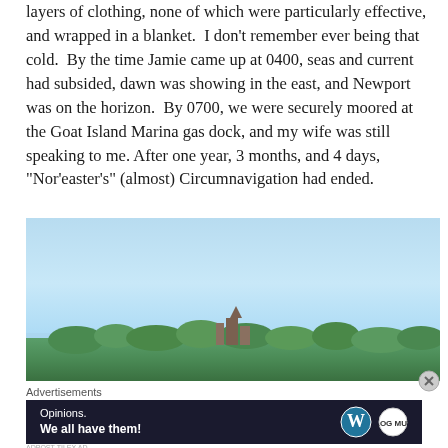layers of clothing, none of which were particularly effective, and wrapped in a blanket.  I don't remember ever being that cold.  By the time Jamie came up at 0400, seas and current had subsided, dawn was showing in the east, and Newport was on the horizon.  By 0700, we were securely moored at the Goat Island Marina gas dock, and my wife was still speaking to me. After one year, 3 months, and 4 days, "Nor'easter's" (almost) Circumnavigation had ended.
[Figure (photo): Photograph of a coastline with a clear blue sky, green trees, and what appears to be buildings or structures along the shore at the bottom of the image.]
Advertisements
[Figure (other): Advertisement banner with dark background reading 'Opinions. We all have them!' with WordPress and another logo on the right.]